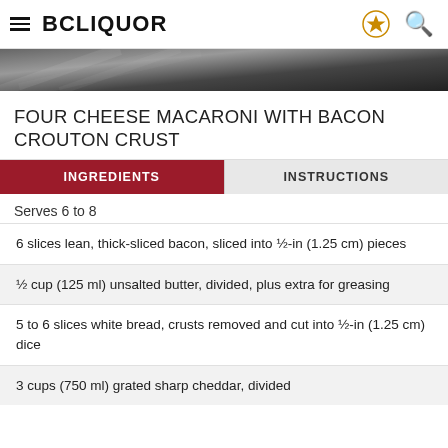BCLIQUOR
[Figure (photo): Dark textured hero banner image]
FOUR CHEESE MACARONI WITH BACON CROUTON CRUST
INGREDIENTS | INSTRUCTIONS (tab navigation)
Serves 6 to 8
6 slices lean, thick-sliced bacon, sliced into ½-in (1.25 cm) pieces
½ cup (125 ml) unsalted butter, divided, plus extra for greasing
5 to 6 slices white bread, crusts removed and cut into ½-in (1.25 cm) dice
3 cups (750 ml) grated sharp cheddar, divided